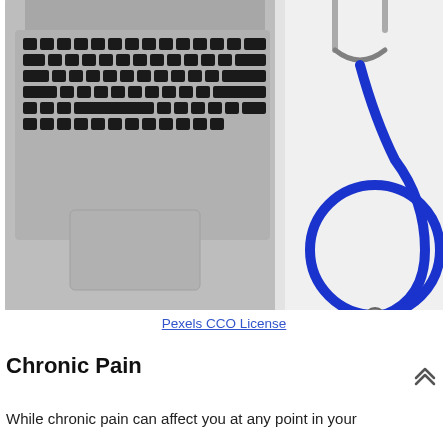[Figure (photo): A laptop computer with a blue stethoscope placed on top of it, viewed from above on a white surface. The laptop keyboard is visible on the left and the stethoscope's circular chest piece loop and tubing are prominently visible on the right in blue.]
Pexels CCO License
Chronic Pain
While chronic pain can affect you at any point in your